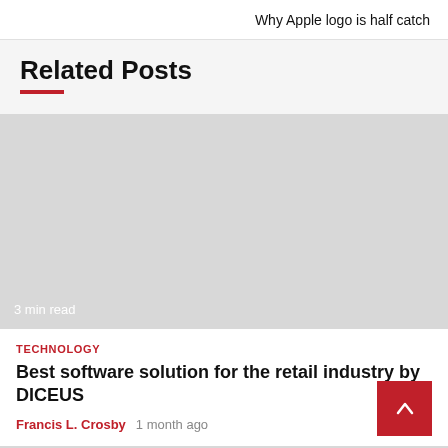Why Apple logo is half catch
Related Posts
[Figure (photo): Gray placeholder image for a blog post, with '3 min read' text overlay at bottom left]
TECHNOLOGY
Best software solution for the retail industry by DICEUS
Francis L. Crosby  1 month ago
[Figure (photo): Gray placeholder image for a second related blog post, partially visible at bottom of page]